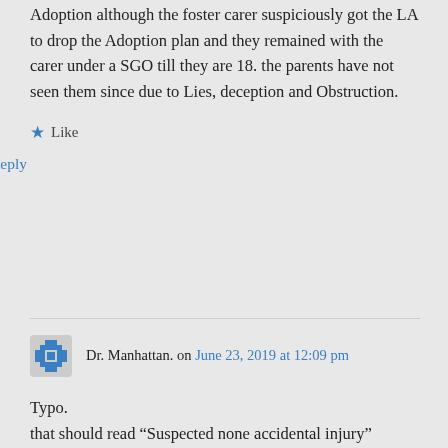Adoption although the foster carer suspiciously got the LA to drop the Adoption plan and they remained with the carer under a SGO till they are 18. the parents have not seen them since due to Lies, deception and Obstruction.
★ Like
↦ Reply
Dr. Manhattan. on June 23, 2019 at 12:09 pm
Typo.
that should read "Suspected none accidental injury"